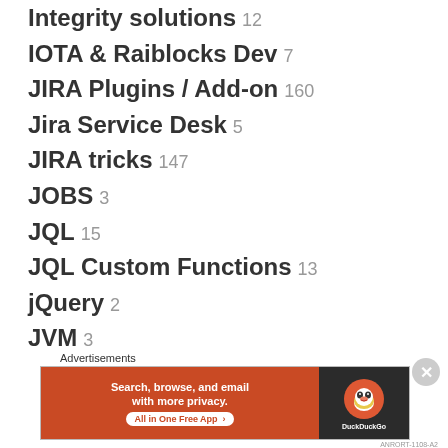Integrity solutions 12
IOTA & Raiblocks Dev 7
JIRA Plugins / Add-on 160
Jira Service Desk 5
JIRA tricks 147
JOBS 3
JQL 15
JQL Custom Functions 13
jQuery 2
JVM 3
LDAP 3
Listeners 19
[Figure (screenshot): DuckDuckGo advertisement banner: 'Search, browse, and email with more privacy. All in One Free App' with DuckDuckGo logo on dark background]